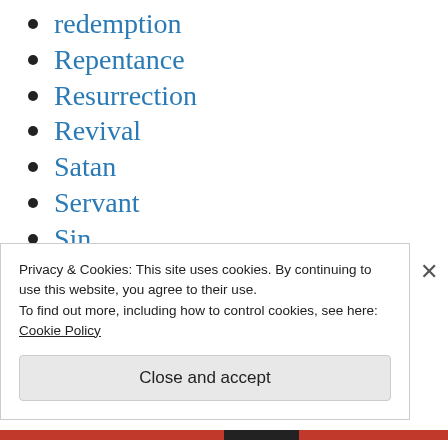redemption
Repentance
Resurrection
Revival
Satan
Servant
Sin
Sovereignty
Sports
Steven Curtis Chapman
Stupid Statements
Privacy & Cookies: This site uses cookies. By continuing to use this website, you agree to their use.
To find out more, including how to control cookies, see here: Cookie Policy
Close and accept